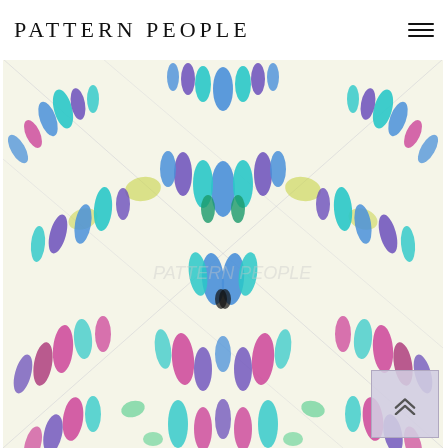PATTERN PEOPLE
[Figure (illustration): Colorful abstract kaleidoscopic pattern with mirrored teardrop/feather shapes in teal, blue, purple, pink, green, and yellow-green on a cream/white background. Symmetrical repeating motif resembling stylized pliers or feathers arranged in a butterfly-like formation.]
[Figure (other): Scroll-to-top button with double chevron (upward arrows) on a light purple/lavender semi-transparent background with border.]